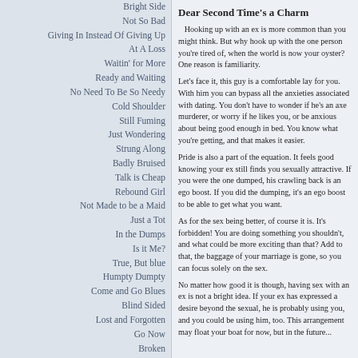Bright Side
Not So Bad
Giving In Instead Of Giving Up
At A Loss
Waitin' for More
Ready and Waiting
No Need To Be So Needy
Cold Shoulder
Still Fuming
Just Wondering
Strung Along
Badly Bruised
Talk is Cheap
Rebound Girl
Not Made to be a Maid
Just a Tot
In the Dumps
Is it Me?
True, But blue
Humpty Dumpty
Come and Go Blues
Blind Sided
Lost and Forgotten
Go Now
Broken
Dear Second Time's a Charm
Hooking up with an ex is more common than you might think. But why hook up with the one person you're tired of, when the world is now your oyster? One reason is familiarity.
Let's face it, this guy is a comfortable lay for you. With him you can bypass all the anxieties associated with dating. You don't have to wonder if he's an axe murderer, or worry if he likes you, or be anxious about being good enough in bed. You know what you're getting, and that makes it easier.
Pride is also a part of the equation. It feels good knowing your ex still finds you sexually attractive. If you were the one dumped, his crawling back is an ego boost. If you did the dumping, it's an ego boost to be able to get what you want.
As for the sex being better, of course it is. It's forbidden! You are doing something you shouldn't, and what could be more exciting than that? Add to that, the baggage of your marriage is gone, so you can focus solely on the sex.
No matter how good it is though, having sex with an ex is not a bright idea. If your ex has expressed a desire beyond the sexual, he is probably using you, and you could be using him, too. This arrangement may float your boat for now, but in the future...